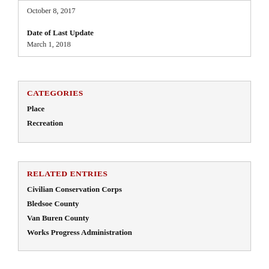October 8, 2017
Date of Last Update
March 1, 2018
CATEGORIES
Place
Recreation
RELATED ENTRIES
Civilian Conservation Corps
Bledsoe County
Van Buren County
Works Progress Administration